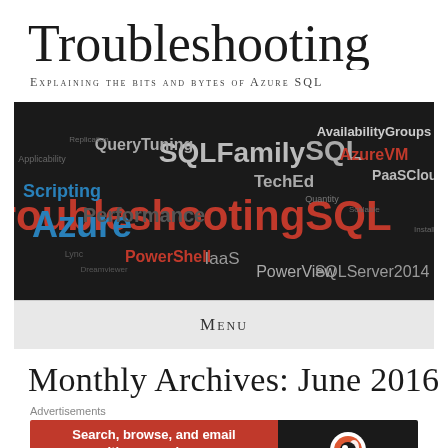Troubleshooting
Explaining the bits and bytes of Azure SQL
[Figure (infographic): Word cloud on dark background featuring SQL/Azure related terms: TroubleshootingSQL (large orange), Azure (large blue), SQLFamily, SQL, AvailabilityGroups, AzureVM, PaaSCloud, PowerShell, QueryTuning, Scripting, Performance, TechEd, IaaS, PowerView, SQLServer2014]
Menu
Monthly Archives: June 2016
Advertisements
[Figure (screenshot): DuckDuckGo advertisement banner: red left side with text 'Search, browse, and email with more privacy. All in One Free App', dark right side with DuckDuckGo logo]